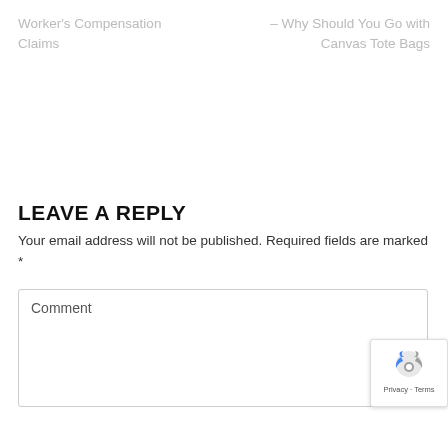Worker's Compensation Claims
– Why Should You Go with Canvas Tote Bags
LEAVE A REPLY
Your email address will not be published. Required fields are marked *
Comment